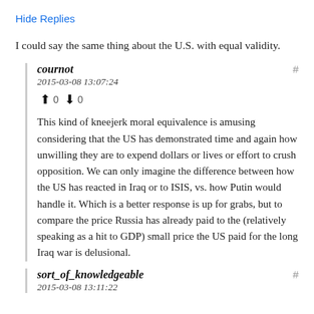Hide Replies
I could say the same thing about the U.S. with equal validity.
cournot
2015-03-08 13:07:24
↑ 0 ↓ 0
This kind of kneejerk moral equivalence is amusing considering that the US has demonstrated time and again how unwilling they are to expend dollars or lives or effort to crush opposition. We can only imagine the difference between how the US has reacted in Iraq or to ISIS, vs. how Putin would handle it. Which is a better response is up for grabs, but to compare the price Russia has already paid to the (relatively speaking as a hit to GDP) small price the US paid for the long Iraq war is delusional.
sort_of_knowledgeable
2015-03-08 13:11:22